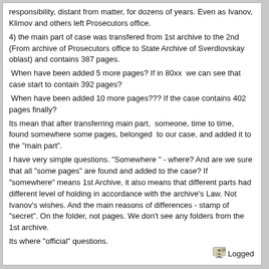responsibility, distant from matter, for dozens of years. Even as Ivanov, Klimov and others left Prosecutors office.
4) the main part of case was transfered from 1st archive to the 2nd (From archive of Prosecutors office to State Archive of Sverdlovskay oblast) and contains 387 pages.
 When have been added 5 more pages? If in 80xx  we can see that case start to contain 392 pages?
 When have been added 10 more pages??? If the case contains 402 pages finally?
Its mean that after transferring main part,  someone, time to time, found somewhere some pages, belonged  to our case, and added it to the "main part".
I have very simple questions. "Somewhere " - where? And are we sure that all "some pages" are found and added to the case? If "somewhere" means 1st Archive, it also means that different parts had different level of holding in accordance with the archive's Law. Not Ivanov's wishes. And the main reasons of differences - stamp of "secret". On the folder, not pages. We don't see any folders from the 1st archive.
Its where "official" questions.

I have "unofficial" questions too. And I know exactly nobody answer for its, neither you or Buyanov.
Do you want me to ask its too?
Logged